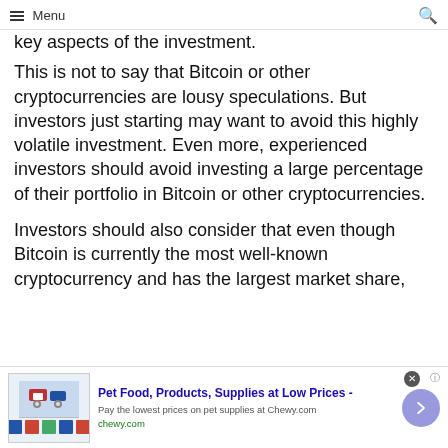Menu
key aspects of the investment.
This is not to say that Bitcoin or other cryptocurrencies are lousy speculations. But investors just starting may want to avoid this highly volatile investment. Even more, experienced investors should avoid investing a large percentage of their portfolio in Bitcoin or other cryptocurrencies.
Investors should also consider that even though Bitcoin is currently the most well-known cryptocurrency and has the largest market share,
[Figure (other): Advertisement banner for Chewy.com: Pet Food, Products, Supplies at Low Prices - Pay the lowest prices on pet supplies at Chewy.com]